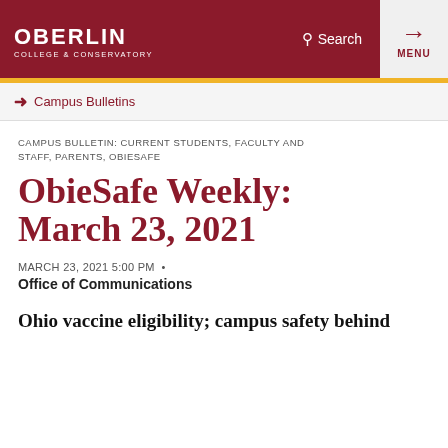OBERLIN COLLEGE & CONSERVATORY | Search | MENU
Campus Bulletins
CAMPUS BULLETIN: CURRENT STUDENTS, FACULTY AND STAFF, PARENTS, OBIESAFE
ObieSafe Weekly: March 23, 2021
MARCH 23, 2021 5:00 PM •
Office of Communications
Ohio vaccine eligibility; campus safety behind